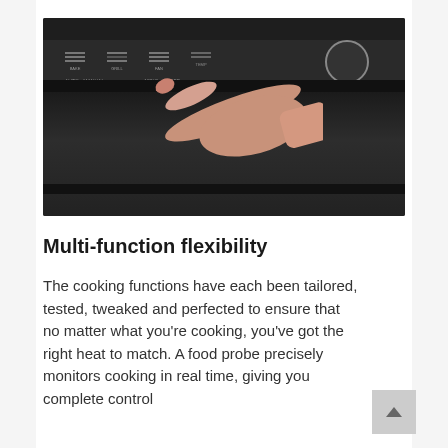[Figure (photo): A hand with one finger extended pointing at a dark black oven control panel, showing function icons and a circular knob on the right side of the panel.]
Multi-function flexibility
The cooking functions have each been tailored, tested, tweaked and perfected to ensure that no matter what you're cooking, you've got the right heat to match. A food probe precisely monitors cooking in real time, giving you complete control